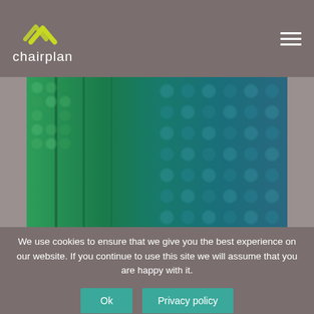[Figure (logo): Chairplan logo with yellow/green chevron arrows above white text 'chairplan']
[Figure (photo): Close-up macro photograph of woven fabric texture showing colors transitioning from bright green on the left to teal/dark blue on the right]
We use cookies to ensure that we give you the best experience on our website. If you continue to use this site we will assume that you are happy with it.
Ok   Privacy policy